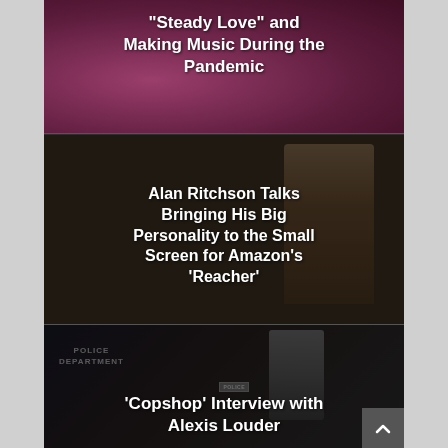[Figure (photo): Article card with purple/pink background photo showing a person, with overlay text about 'Steady Love' and Making Music During the Pandemic]
“Steady Love” and Making Music During the Pandemic
[Figure (photo): Article card with dark tan/brown background showing a person standing, for Alan Ritchson Reacher article]
Alan Ritchson Talks Bringing His Big Personality to the Small Screen for Amazon’s ‘Reacher’
[Figure (photo): Article card with dark background showing police department sign and a person running in police uniform, for Copshop interview]
‘Copshop’ Interview with Alexis Louder